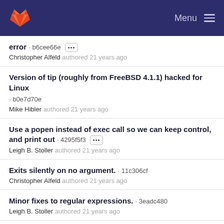GitLab — Menu
error · b6cee66e ··· Christopher Alfeld authored 21 years ago
Version of tip (roughly from FreeBSD 4.1.1) hacked for Linux · b0e7d70e Mike Hibler authored 21 years ago
Use a popen instead of exec call so we can keep control, and print out · 4295f5f3 ··· Leigh B. Stoller authored 21 years ago
Exits silently on no argument. · 11c306cf Christopher Alfeld authored 21 years ago
Minor fixes to regular expressions. · 3eadc480 Leigh B. Stoller authored 21 years ago
Fix up install. handle_os.tcl is now handle_os in perl. · e9005e54